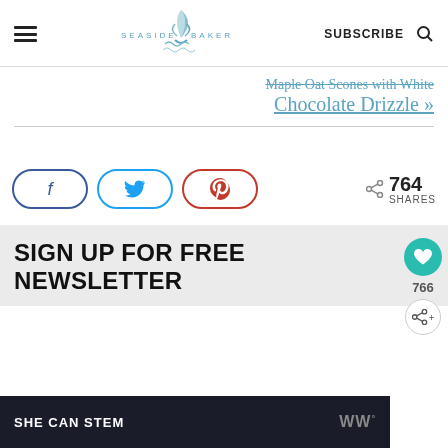SEASIDE BAKER | SUBSCRIBE
Maple Oat Scones with White Chocolate Drizzle »
[Figure (infographic): Social share buttons: Facebook (f), Twitter (bird), Pinterest (p), with 764 SHARES count and share icon]
[Figure (infographic): Floating sidebar with teal heart button, 766 count, and share button]
SIGN UP FOR FREE NEWSLETTER
[Figure (infographic): Ad banner at bottom with 'SHE CAN STEM' text in white on dark background]